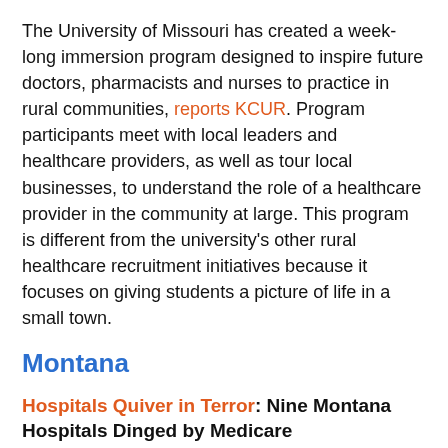The University of Missouri has created a week-long immersion program designed to inspire future doctors, pharmacists and nurses to practice in rural communities, reports KCUR. Program participants meet with local leaders and healthcare providers, as well as tour local businesses, to understand the role of a healthcare provider in the community at large. This program is different from the university's other rural healthcare recruitment initiatives because it focuses on giving students a picture of life in a small town.
Montana
Hospitals Quiver in Terror: Nine Montana Hospitals Dinged by Medicare
By Katheryn Houghton | Bozeman Daily Chronicle | Oct. 5, 2019
Medicare cut payments to nine Montana hospitals as part of a program that aims to drive hospitals to reduce